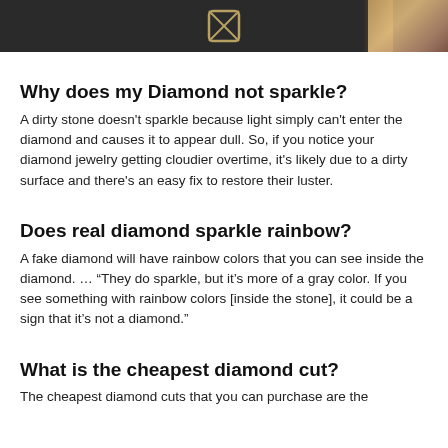[Figure (photo): Dark background photo strip with a diamond/jewelry icon in center and a person visible on the right edge with gold/warm tones]
Why does my Diamond not sparkle?
A dirty stone doesn't sparkle because light simply can't enter the diamond and causes it to appear dull. So, if you notice your diamond jewelry getting cloudier overtime, it's likely due to a dirty surface and there's an easy fix to restore their luster.
Does real diamond sparkle rainbow?
A fake diamond will have rainbow colors that you can see inside the diamond. … “They do sparkle, but it’s more of a gray color. If you see something with rainbow colors [inside the stone], it could be a sign that it’s not a diamond.”
What is the cheapest diamond cut?
The cheapest diamond cuts that you can purchase are the